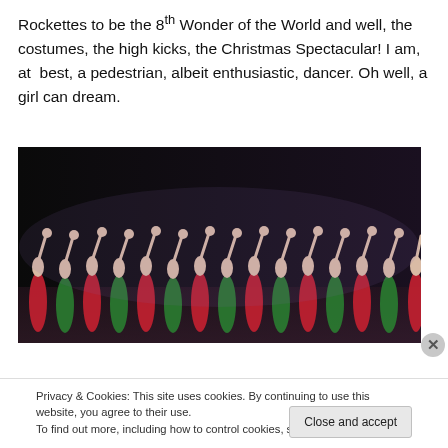Rockettes to be the 8th Wonder of the World and well, the costumes, the high kicks, the Christmas Spectacular! I am, at best, a pedestrian, albeit enthusiastic, dancer. Oh well, a girl can dream.
[Figure (photo): A line of Rockettes performers in red and green costumes on a dark stage, all raising one arm high in a synchronized pose.]
Privacy & Cookies: This site uses cookies. By continuing to use this website, you agree to their use.
To find out more, including how to control cookies, see here: Cookie Policy